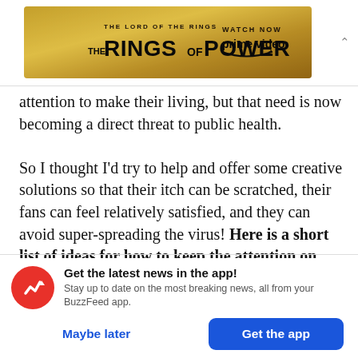[Figure (screenshot): Amazon Prime Video advertisement banner for 'The Lord of the Rings: The Rings of Power' with golden/bronze background. Left side shows 'THE LORD OF THE RINGS' subtitle and 'THE RINGS OF POWER' title. Right side shows 'WATCH NOW' and 'prime video' with Amazon smile logo.]
attention to make their living, but that need is now becoming a direct threat to public health.

So I thought I’d try to help and offer some creative solutions so that their itch can be scratched, their fans can feel relatively satisfied, and they can avoid super-spreading the virus! Here is a short list of ideas for how to keep the attention on you, safely:
[Figure (screenshot): BuzzFeed app notification prompt with red circle icon containing white trending arrow. Text reads 'Get the latest news in the app! Stay up to date on the most breaking news, all from your BuzzFeed app.' with 'Maybe later' and 'Get the app' buttons.]